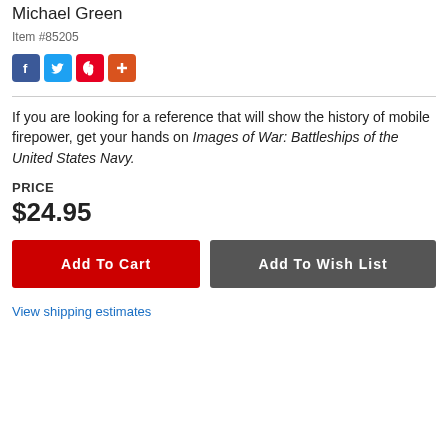Michael Green
Item #85205
[Figure (other): Social sharing icons: Facebook (blue), Twitter (blue), Pinterest (red), Plus/More (orange-red)]
If you are looking for a reference that will show the history of mobile firepower, get your hands on Images of War: Battleships of the United States Navy.
PRICE
$24.95
Add To Cart
Add To Wish List
View shipping estimates